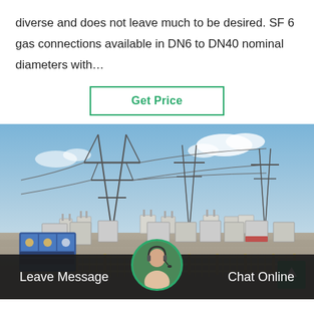diverse and does not leave much to be desired. SF 6 gas connections available in DN6 to DN40 nominal diameters with…
[Figure (other): A 'Get Price' button with green border and green text on white background]
[Figure (photo): Outdoor electrical substation with power transmission towers, high-voltage equipment, transformers, and a fenced perimeter. Blue sky with some clouds visible in the background. A blue warning sign panel is visible on the lower left.]